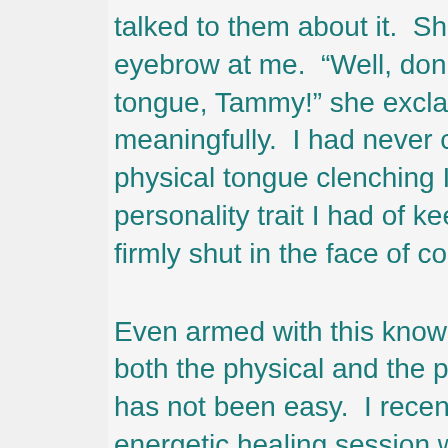talked to them about it.  She quirked an eyebrow at me.  "Well, don't hold your tongue, Tammy!" she exclaimed meaningfully.  I had never connected the physical tongue clenching I had with the personality trait I had of keeping my mouth firmly shut in the face of conflict.
Even armed with this knowledge, releasing both the physical and the personality issue has not been easy.  I recently asked for an energetic healing session with Reiki Master Simone Gers